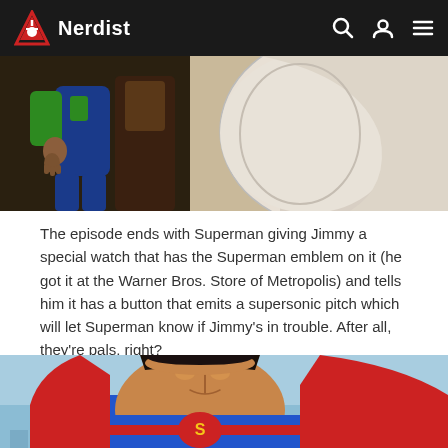Nerdist
[Figure (illustration): Animated scene showing two characters, one in a blue outfit and one in green, standing near a large white rounded object. Screenshot from Superman animated series.]
The episode ends with Superman giving Jimmy a special watch that has the Superman emblem on it (he got it at the Warner Bros. Store of Metropolis) and tells him it has a button that emits a supersonic pitch which will let Superman know if Jimmy's in trouble. After all, they're pals, right?
[Figure (illustration): Close-up of animated Superman character smiling, wearing his red and blue costume with a red cape, against a light blue sky background with city buildings faintly visible below.]